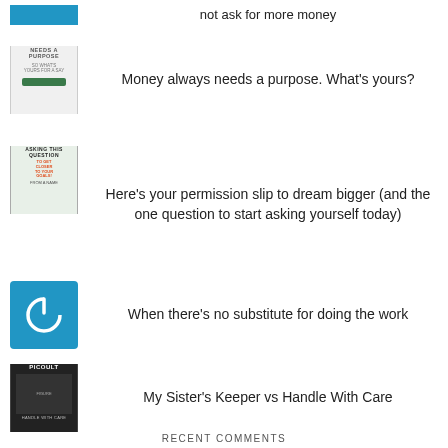not ask for more money
Money always needs a purpose. What's yours?
Here's your permission slip to dream bigger (and the one question to start asking yourself today)
When there's no substitute for doing the work
My Sister's Keeper vs Handle With Care
RECENT COMMENTS